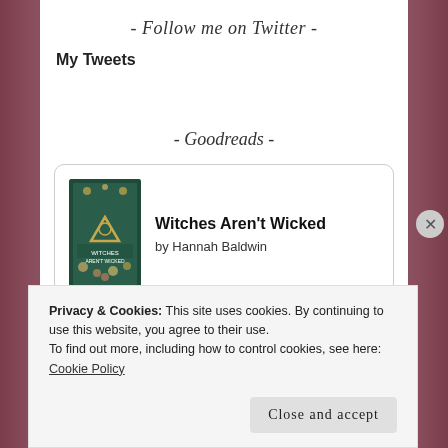- Follow me on Twitter -
My Tweets
- Goodreads -
[Figure (other): Goodreads widget showing book 'Witches Aren't Wicked' by Hannah Baldwin with book cover and Goodreads logo button]
Privacy & Cookies: This site uses cookies. By continuing to use this website, you agree to their use.
To find out more, including how to control cookies, see here: Cookie Policy
Close and accept